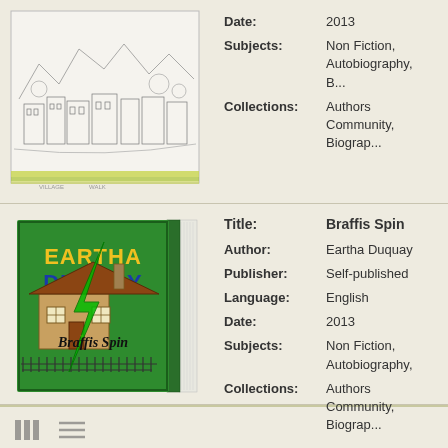[Figure (illustration): Sketch-style book cover showing a town with buildings and mountains, with green and yellow stripes at the bottom]
Date: 2013
Subjects: Non Fiction, Autobiography, B...
Collections: Authors Community, Biograp...
[Figure (illustration): Green book cover with 'EARTHA DUQUAY' in yellow and blue letters, a house illustration, and 'Braffis Spin' in italic script, with a green lightning bolt design]
| Field | Value |
| --- | --- |
| Title: | Braffis Spin |
| Author: | Eartha Duquay |
| Publisher: | Self-published |
| Language: | English |
| Date: | 2013 |
| Subjects: | Non Fiction, Autobiography, |
| Collections: | Authors Community, Biograp... |
list/grid view icons